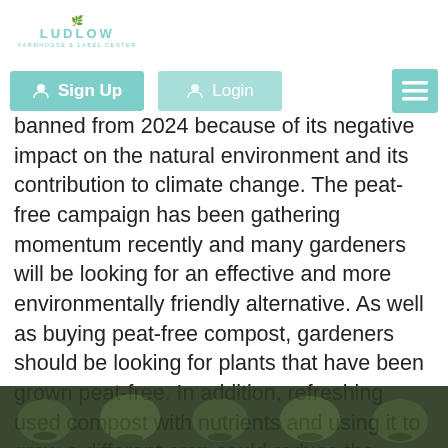LUDLOW
[Figure (screenshot): Navigation bar with Sign Up button (teal), Login button (lighter teal), and hamburger menu icon (teal)]
banned from 2024 because of its negative impact on the natural environment and its contribution to climate change. The peat-free campaign has been gathering momentum recently and many gardeners will be looking for an effective and more environmentally friendly alternative. As well as buying peat-free compost, gardeners should be looking for plants that have been grown peat-free. In addition, refreshing used compost with nutrients and using it to grow a different crop could reduce the impact on the environment.
[Figure (photo): Row of small plant seedlings in pots, photographed from above, dark soil visible]